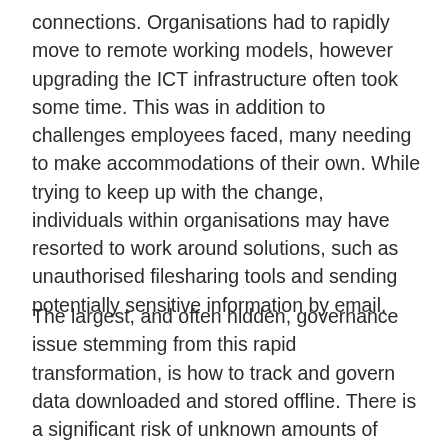connections. Organisations had to rapidly move to remote working models, however upgrading the ICT infrastructure often took some time. This was in addition to challenges employees faced, many needing to make accommodations of their own. While trying to keep up with the change, individuals within organisations may have resorted to work around solutions, such as unauthorised filesharing tools and sending potentially sensitive information by email.
The largest, and often hidden, governance issue stemming from this rapid transformation, is how to track and govern data downloaded and stored offline. There is a significant risk of unknown amounts of sensitive information being stored on employee computers. In many cases, this is potentially information with no retention, or other